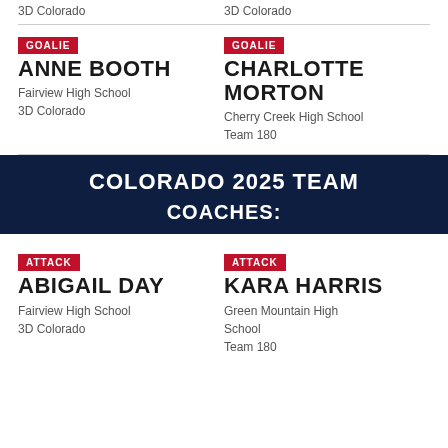3D Colorado
3D Colorado
GOALIE
ANNE BOOTH
Fairview High School
3D Colorado
GOALIE
CHARLOTTE MORTON
Cherry Creek High School
Team 180
COLORADO 2025 TEAM
COACHES:
ATTACK
ABIGAIL DAY
Fairview High School
3D Colorado
ATTACK
KARA HARRIS
Green Mountain High School
Team 180